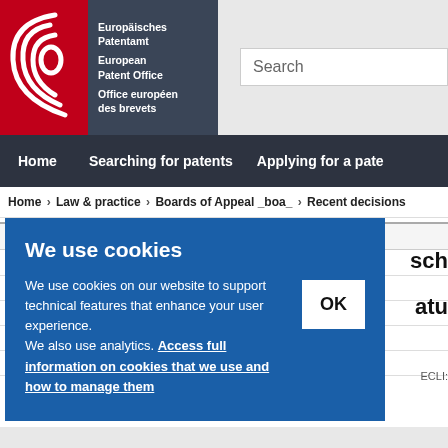[Figure (logo): European Patent Office logo with red background and white swirl, dark blue text block with German, English and French organization names]
Search
Home   Searching for patents   Applying for a pate
Home > Law & practice > Boards of Appeal _boa_ > Recent decisions
We use cookies
We use cookies on our website to support technical features that enhance your user experience.
We also use analytics. Access full information on cookies that we use and how to manage them
OK